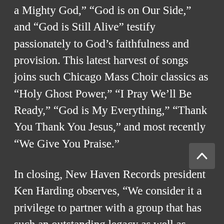a Mighty God,” “God is on Our Side,” and “God is Still Alive” testify passionately to God’s faithfulness and provision. This latest harvest of songs joins such Chicago Mass Choir classics as “Holy Ghost Power,” “I Pray We’ll Be Ready,” “God is My Everything,” “Thank You Thank You Jesus,” and most recently “We Give You Praise.”
In closing, New Haven Records president Ken Harding observes, “We consider it a privilege to partner with a group that has such an outstanding legacy as well as ongoing relevancy.  We congratulate them on this award, and can’t wait to see what the Lord has in store for Chicago Mass Choir in 2021.”
Harding continues, “We really feel that this year is going to be a banner year for Chicago Mass Choir.  We